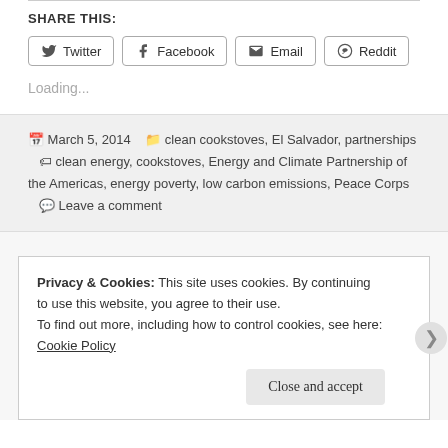SHARE THIS:
Twitter  Facebook  Email  Reddit
Loading...
March 5, 2014   clean cookstoves, El Salvador, partnerships   clean energy, cookstoves, Energy and Climate Partnership of the Americas, energy poverty, low carbon emissions, Peace Corps   Leave a comment
Privacy & Cookies: This site uses cookies. By continuing to use this website, you agree to their use.
To find out more, including how to control cookies, see here: Cookie Policy
Close and accept